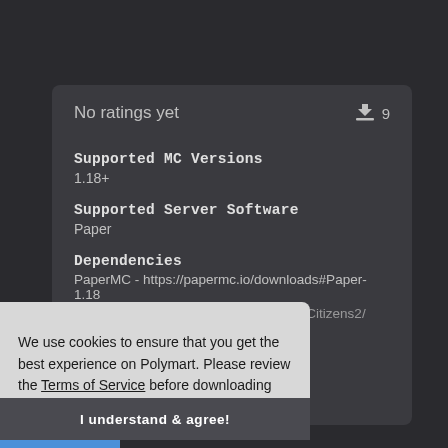[Figure (screenshot): Dark-themed plugin/resource listing card on Polymart showing No ratings yet, download count 9, Supported MC Versions 1.18+, Supported Server Software Paper, Dependencies PaperMC and Citizens2 links, partially visible Languages and English sections, and a PayPal icon. A cookie consent overlay covers the lower-left portion with text about Terms of Service and a Learn more link, and a dark button bar reading I understand & agree!]
No ratings yet
9
Supported MC Versions
1.18+
Supported Server Software
Paper
Dependencies
PaperMC - https://papermc.io/downloads#Paper-1.18
| Citizens2 - https://citizensnpcs.co/job/Citizens2/
Languages
English
We use cookies to ensure that you get the best experience on Polymart. Please review the Terms of Service before downloading any resources. Learn more
I understand & agree!